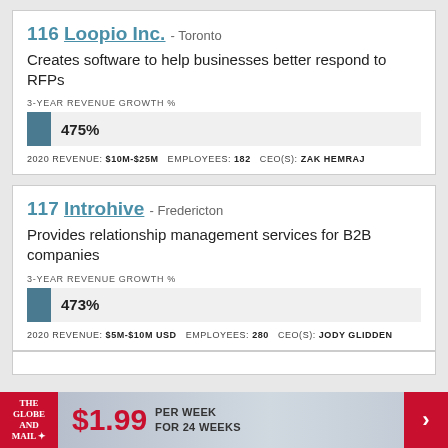116 Loopio Inc. - Toronto
Creates software to help businesses better respond to RFPs
3-YEAR REVENUE GROWTH %
[Figure (bar-chart): 3-Year Revenue Growth %]
2020 REVENUE: $10M-$25M   EMPLOYEES: 182   CEO(S): ZAK HEMRAJ
117 Introhive - Fredericton
Provides relationship management services for B2B companies
3-YEAR REVENUE GROWTH %
[Figure (bar-chart): 3-Year Revenue Growth %]
2020 REVENUE: $5M-$10M USD   EMPLOYEES: 280   CEO(S): JODY GLIDDEN